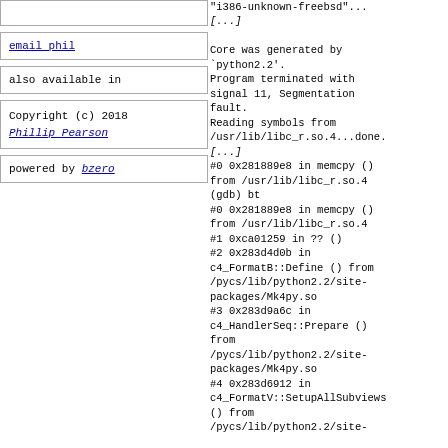email phil
also available in
Copyright (c) 2018 Phillip Pearson
powered by bzero
"i386-unknown-freebsd"...
[...]

Core was generated by `python2.2'.
Program terminated with signal 11, Segmentation fault.
Reading symbols from /usr/lib/libc_r.so.4...done.
[...]
#0 0x281889e8 in memcpy () from /usr/lib/libc_r.so.4
(gdb) bt
#0 0x281889e8 in memcpy () from /usr/lib/libc_r.so.4
#1 0xca01259 in ?? ()
#2 0x283d4d0b in c4_FormatB::Define () from /pycs/lib/python2.2/site-packages/Mk4py.so
#3 0x283d9a6c in c4_HandlerSeq::Prepare () from /pycs/lib/python2.2/site-packages/Mk4py.so
#4 0x283d6912 in c4_FormatV::SetupAllSubviews () from /pycs/lib/python2.2/site-